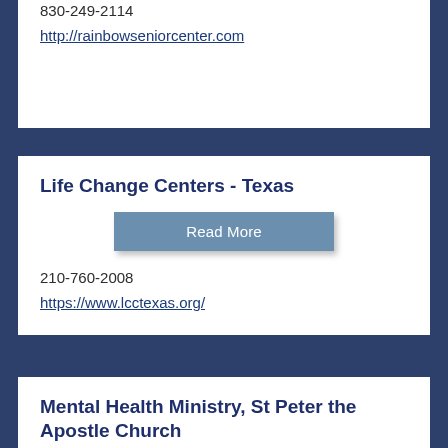830-249-2114
http://rainbowseniorcenter.com
Life Change Centers - Texas
[Figure (other): Read More button]
210-760-2008
https://www.lcctexas.org/
Mental Health Ministry, St Peter the Apostle Church
[Figure (other): Read More button]
202 W Kronkosky St, Boerne, TX 78006, USA
https://www.example.com/...